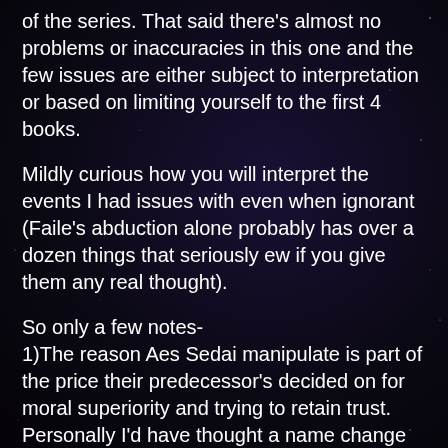of the series. That said there's almost no problems or inaccuracies in this one and the few issues are either subject to interpretation or based on limiting yourself to the first 4 books.
Mildly curious how you will interpret the events I had issues with even when ignorant (Faile's abduction alone probably has over a dozen things that seriously ew if you give them any real thought).
So only a few notes-
1)The reason Aes Sedai manipulate is part of the price their predecessor's decided on for moral superiority and trying to retain trust.
Personally I'd have thought a name change would be better. They're still not trusted because the